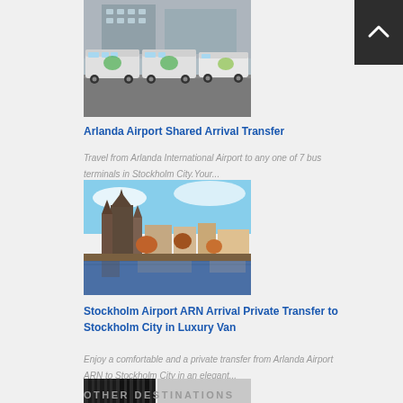[Figure (photo): Row of white and green buses parked in front of a building, Arlanda Airport shuttle coaches]
Arlanda Airport Shared Arrival Transfer
Travel from Arlanda International Airport to any one of 7 bus terminals in Stockholm City.Your...
[Figure (photo): Stockholm city waterfront with historic buildings and colorful architecture at dusk]
Stockholm Airport ARN Arrival Private Transfer to Stockholm City in Luxury Van
Enjoy a comfortable and a private transfer from Arlanda Airport ARN to Stockholm City in an elegant...
[Figure (photo): Partially visible image, dark stripes on left, grey on right]
OTHER DESTINATIONS